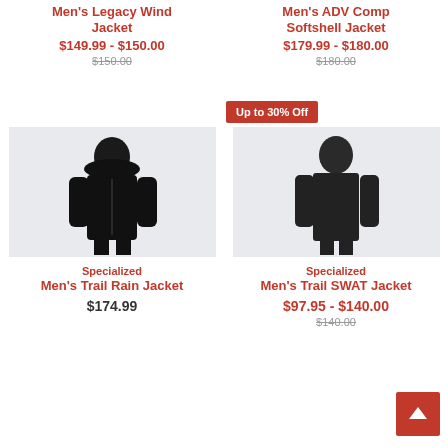Men's Legacy Wind Jacket
$149.99 - $150.00
$150.00
Men's ADV Comp Softshell Jacket
$179.99 - $180.00
$180.00
Up to 30% Off
[Figure (photo): Man wearing black hooded cycling jacket, front view, light grey background]
[Figure (photo): Man wearing black long sleeve cycling jacket, front view, light grey background]
Specialized
Men's Trail Rain Jacket
$174.99
Specialized
Men's Trail SWAT Jacket
$97.95 - $140.00
$140.00